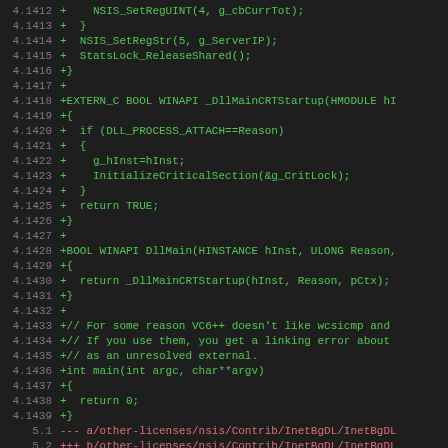[Figure (screenshot): Code diff viewer showing lines 4.1412 to 5.4. Green lines are additions, red lines are deletions, magenta lines are diff metadata. Dark background IDE/diff viewer style.]